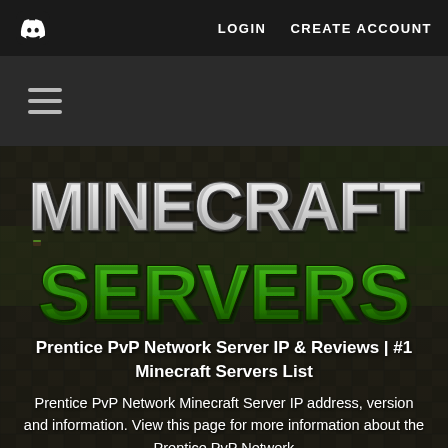LOGIN   CREATE ACCOUNT
[Figure (screenshot): Minecraft Servers website header with Minecraft and Servers logo text over a dark Minecraft-themed background]
Prentice PvP Network Server IP & Reviews | #1 Minecraft Servers List
Prentice PvP Network Minecraft Server IP address, version and information. View this page for more information about the Prentice PvP Network